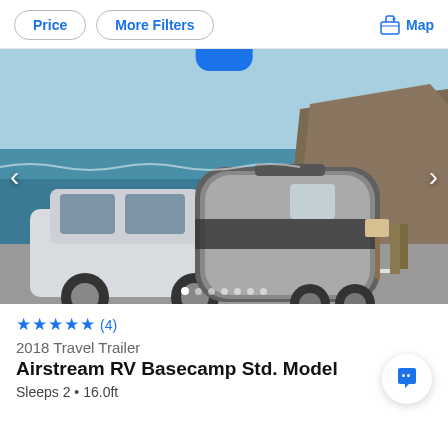Price | More Filters | Map
[Figure (photo): Photo of an Airstream RV Basecamp trailer being towed by a white SUV along a coastal road with a rocky cliff and ocean in the background. Navigation arrows visible on left and right sides of image. Image dots indicator at the bottom showing 7 dots with first dot active.]
★★★★★ (4)
2018 Travel Trailer
Airstream RV Basecamp Std. Model
Sleeps 2 • 16.0ft